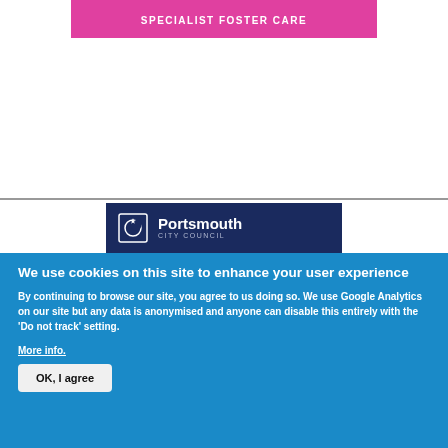[Figure (logo): Pink/magenta banner with white text reading SPECIALIST FOSTER CARE]
[Figure (logo): Portsmouth City Council logo with dark navy background, shield/star icon, and white text]
We use cookies on this site to enhance your user experience
By continuing to browse our site, you agree to us doing so. We use Google Analytics on our site but any data is anonymised and anyone can disable this entirely with the 'Do not track' setting.
More info.
OK, I agree